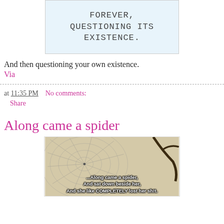[Figure (illustration): Light blue box with uppercase text reading 'FOREVER, QUESTIONING ITS EXISTENCE.']
And then questioning your own existence.
Via
at 11:35 PM   No comments:
Share
Along came a spider
[Figure (illustration): Meme image with spider web background and text: '...Along came a spider, And sat down beside her, And she like COMPLETELY lost her sh!t.']